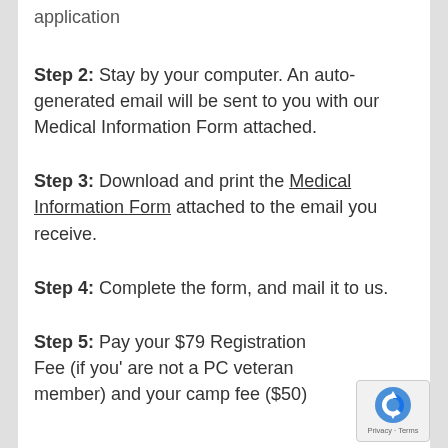application
Step 2: Stay by your computer. An auto-generated email will be sent to you with our Medical Information Form attached.
Step 3: Download and print the Medical Information Form attached to the email you receive.
Step 4: Complete the form, and mail it to us.
Step 5: Pay your $79 Registration Fee (if you' are not a PC veteran member) and your camp fee ($50)